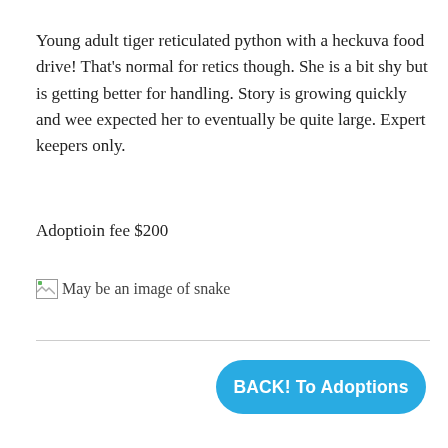Young adult tiger reticulated python with a heckuva food drive! That's normal for retics though. She is a bit shy but is getting better for handling. Story is growing quickly and wee expected her to eventually be quite large. Expert keepers only.
Adoptioin fee $200
[Figure (other): Broken image placeholder with alt text 'May be an image of snake']
BACK! To Adoptions